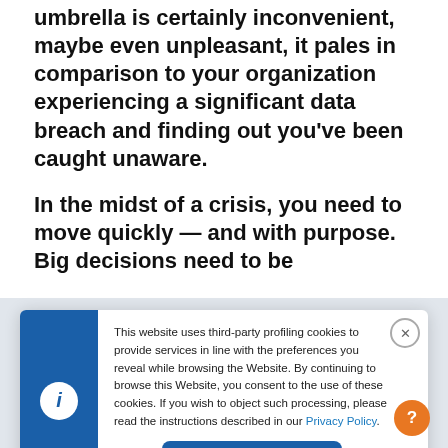While being caught in a downpour without an umbrella is certainly inconvenient, maybe even unpleasant, it pales in comparison to your organization experiencing a significant data breach and finding out you've been caught unaware.
In the midst of a crisis, you need to move quickly — and with purpose. Big decisions need to be
This website uses third-party profiling cookies to provide services in line with the preferences you reveal while browsing the Website. By continuing to browse this Website, you consent to the use of these cookies. If you wish to object such processing, please read the instructions described in our Privacy Policy.
I understand